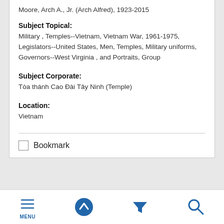Moore, Arch A., Jr. (Arch Alfred), 1923-2015
Subject Topical:
Military , Temples--Vietnam, Vietnam War, 1961-1975, Legislators--United States, Men, Temples, Military uniforms, Governors--West Virginia , and Portraits, Group
Subject Corporate:
Tòa thánh Cao Đài Tây Ninh (Temple)
Location:
Vietnam
Bookmark
[Figure (screenshot): Mobile navigation bar with Menu, up-arrow, filter, and search icons in blue]
MENU